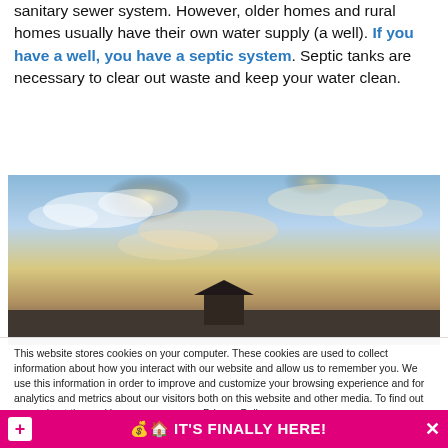sanitary sewer system. However, older homes and rural homes usually have their own water supply (a well). If you have a well, you have a septic system. Septic tanks are necessary to clear out waste and keep your water clean.
[Figure (photo): A wide panoramic photo of a house or structure silhouetted against a dramatic sunset sky with golden clouds and blue sky.]
This website stores cookies on your computer. These cookies are used to collect information about how you interact with our website and allow us to remember you. We use this information in order to improve and customize your browsing experience and for analytics and metrics about our visitors both on this website and other media. To find out more about the cookies we use, see our Privacy Policy.
Accept
💰🏠 IT'S FINALLY HERE!